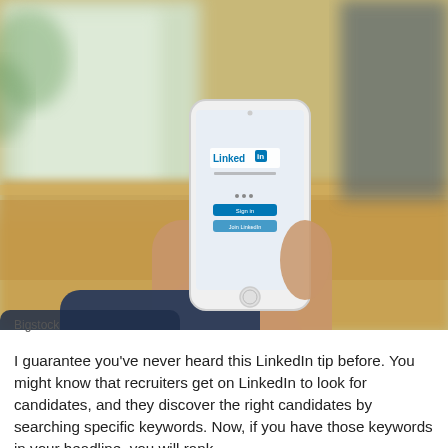[Figure (photo): A hand holding a white iPhone displaying the LinkedIn app login screen, resting on a wooden table with a blurred office background.]
Bigstock
I guarantee you've never heard this LinkedIn tip before. You might know that recruiters get on LinkedIn to look for candidates, and they discover the right candidates by searching specific keywords. Now, if you have those keywords in your headline, you will rank